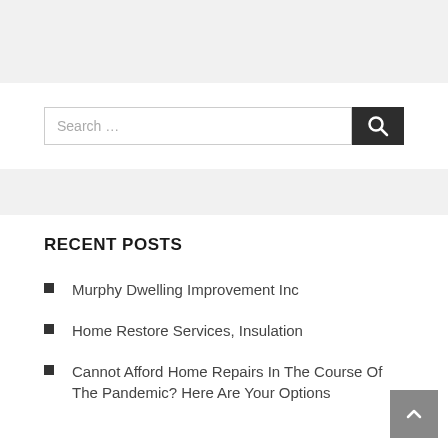Search …
RECENT POSTS
Murphy Dwelling Improvement Inc
Home Restore Services, Insulation
Cannot Afford Home Repairs In The Course Of The Pandemic? Here Are Your Options